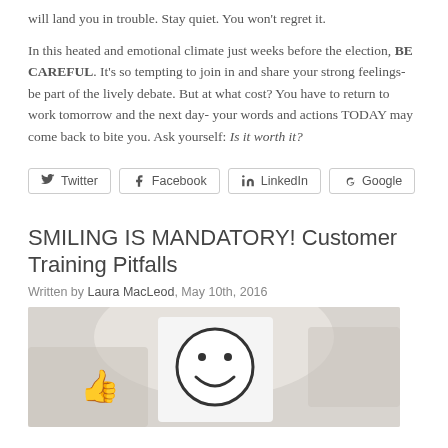will land you in trouble. Stay quiet. You won't regret it.

In this heated and emotional climate just weeks before the election, BE CAREFUL. It's so tempting to join in and share your strong feelings- be part of the lively debate. But at what cost? You have to return to work tomorrow and the next day- your words and actions TODAY may come back to bite you. Ask yourself: Is it worth it?
[Figure (other): Social sharing buttons for Twitter, Facebook, LinkedIn, and Google+]
SMILING IS MANDATORY! Customer Training Pitfalls
Written by Laura MacLeod, May 10th, 2016
[Figure (photo): Photo of a person holding up a hand-drawn smiley face in front of their face, with another person giving a thumbs up in the background. Office setting.]